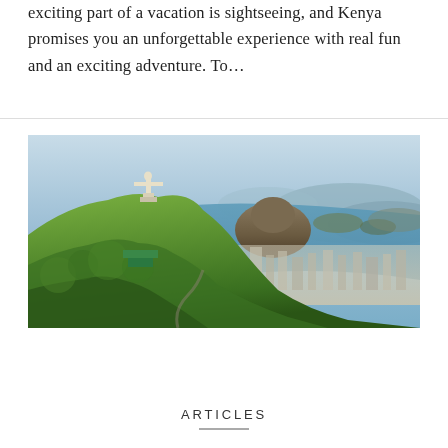exciting part of a vacation is sightseeing, and Kenya promises you an unforgettable experience with real fun and an exciting adventure. To...
[Figure (photo): Aerial view of Rio de Janeiro, Brazil, showing Christ the Redeemer statue on a green forested hill with Sugarloaf Mountain, Guanabara Bay, and city buildings visible in the background under a hazy sky.]
ARTICLES